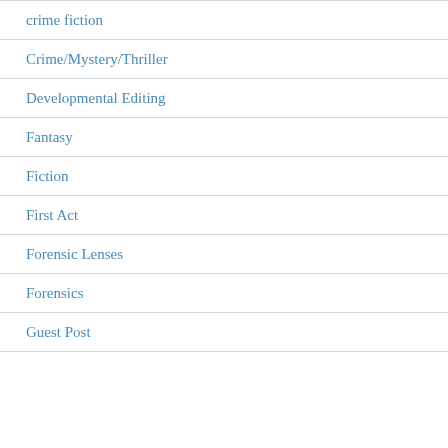crime fiction
Crime/Mystery/Thriller
Developmental Editing
Fantasy
Fiction
First Act
Forensic Lenses
Forensics
Guest Post